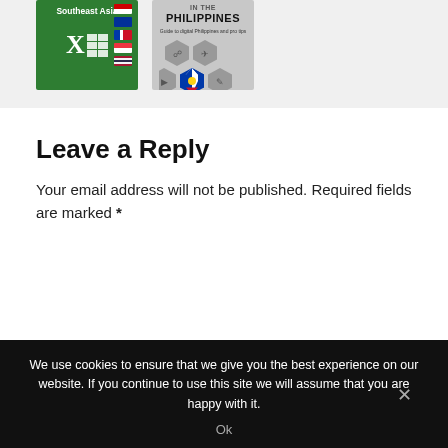[Figure (illustration): Two book covers side by side: a green Microsoft Excel reference book for Southeast Asia with country flags, and a gray 'Philippines' digital guide with hexagonal icons including a Philippine flag.]
Leave a Reply
Your email address will not be published. Required fields are marked *
We use cookies to ensure that we give you the best experience on our website. If you continue to use this site we will assume that you are happy with it.
Ok